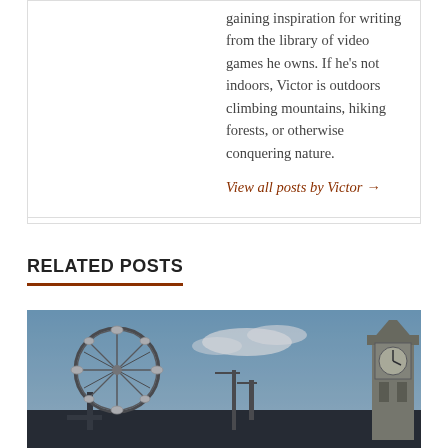gaining inspiration for writing from the library of video games he owns. If he's not indoors, Victor is outdoors climbing mountains, hiking forests, or otherwise conquering nature.
View all posts by Victor →
RELATED POSTS
[Figure (photo): Cityscape photo showing a Ferris wheel (London Eye) on the left and a clock tower (Big Ben) on the right against a blue sky with clouds, appears to be a video game or stylized rendering of London.]